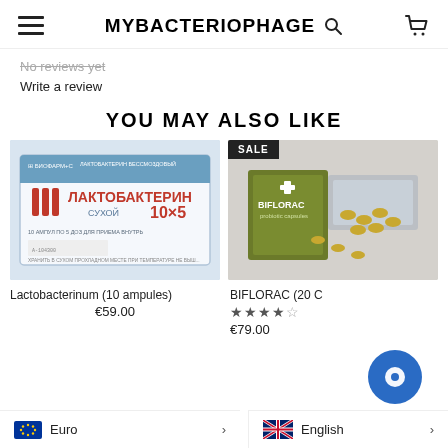MYBACTERIOPHAGE
No reviews yet
Write a review
YOU MAY ALSO LIKE
[Figure (photo): Photo of Lactobacterinum (Лактобактерин) 10x5 dry powder ampoules packaging, white and red packaging]
Lactobacterinum (10 ampules)
€59.00
[Figure (photo): Photo of BIFLORAC 20 capsules box with blister packs, olive green box]
BIFLORAC (20 C...
€79.00
Euro
English